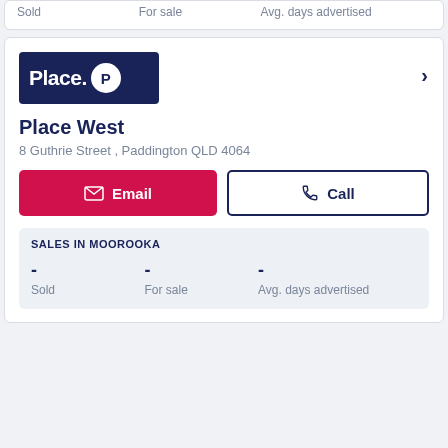| Sold | For sale | Avg. days advertised |
| --- | --- | --- |
|  |  |  |
[Figure (logo): Place. P agency logo with dark navy background and white P circle]
Place West
8 Guthrie Street , Paddington QLD 4064
Email
Call
SALES IN MOOROOKA
| Sold | For sale | Avg. days advertised |
| --- | --- | --- |
| - | - | - |